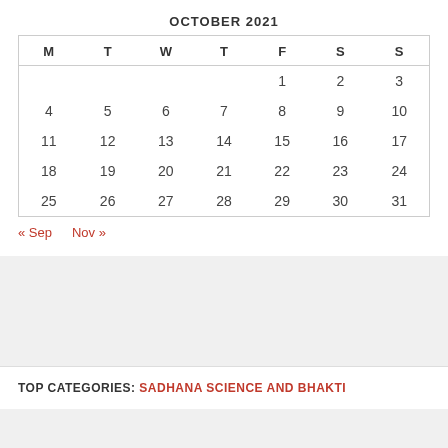OCTOBER 2021
| M | T | W | T | F | S | S |
| --- | --- | --- | --- | --- | --- | --- |
|  |  |  |  | 1 | 2 | 3 |
| 4 | 5 | 6 | 7 | 8 | 9 | 10 |
| 11 | 12 | 13 | 14 | 15 | 16 | 17 |
| 18 | 19 | 20 | 21 | 22 | 23 | 24 |
| 25 | 26 | 27 | 28 | 29 | 30 | 31 |
« Sep   Nov »
TOP CATEGORIES: SADHANA SCIENCE AND BHAKTI